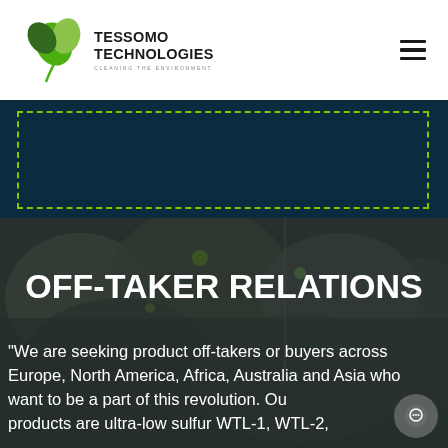[Figure (logo): Tessomo Technologies logo with green leaf icon and tagline 'Cleaning the Environment']
[Figure (photo): Overhead photo of collected waste/garbage bags overlaid with dark teal tint]
OFF-TAKER RELATIONS
"We are seeking product off-takers or buyers across Europe, North America, Africa, Australia and Asia who want to be a part of this revolution. Our products are ultra-low sulfur WTL-1, WTL-2,